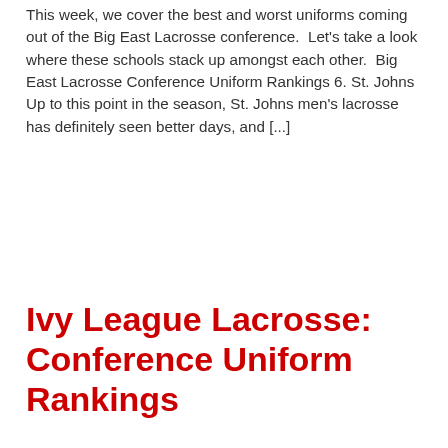This week, we cover the best and worst uniforms coming out of the Big East Lacrosse conference. Let's take a look where these schools stack up amongst each other. Big East Lacrosse Conference Uniform Rankings 6. St. Johns Up to this point in the season, St. Johns men's lacrosse has definitely seen better days, and [...]
Ivy League Lacrosse: Conference Uniform Rankings
[Figure (other): Light gray placeholder image block at the bottom of the page]